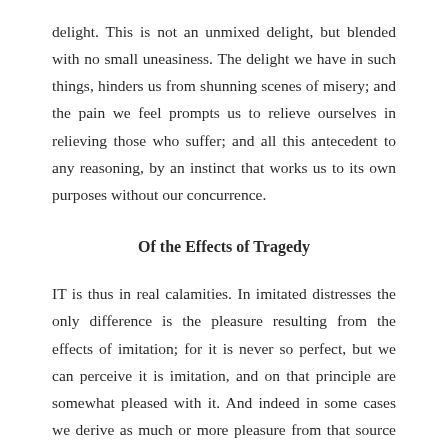delight. This is not an unmixed delight, but blended with no small uneasiness. The delight we have in such things, hinders us from shunning scenes of misery; and the pain we feel prompts us to relieve ourselves in relieving those who suffer; and all this antecedent to any reasoning, by an instinct that works us to its own purposes without our concurrence.
Of the Effects of Tragedy
IT is thus in real calamities. In imitated distresses the only difference is the pleasure resulting from the effects of imitation; for it is never so perfect, but we can perceive it is imitation, and on that principle are somewhat pleased with it. And indeed in some cases we derive as much or more pleasure from that source than from the thing itself. But then I imagine we shall be much mistaken, if we attribute any